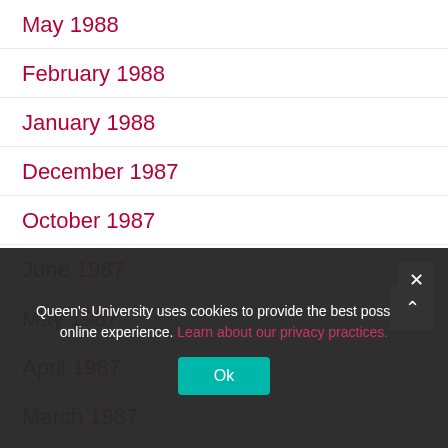May 1988
February 1988
January 1988
December 1987
October 1987
June 1987
May 1987
April 1987
March 1987
January 1987
April 1986
December 1985
January 1985
April 1982
Queen's University uses cookies to provide the best possible online experience. Learn about our privacy practices.